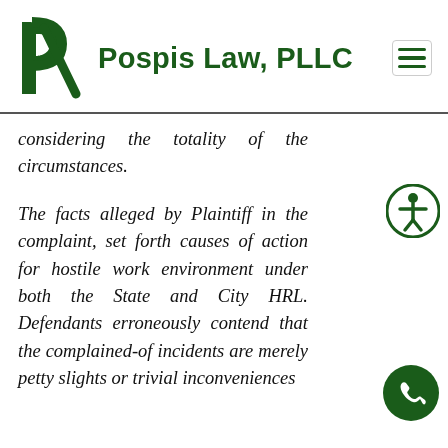Pospis Law, PLLC
considering the totality of the circumstances.
The facts alleged by Plaintiff in the complaint, set forth causes of action for hostile work environment under both the State and City HRL. Defendants erroneously contend that the complained-of incidents are merely petty slights or trivial inconveniences